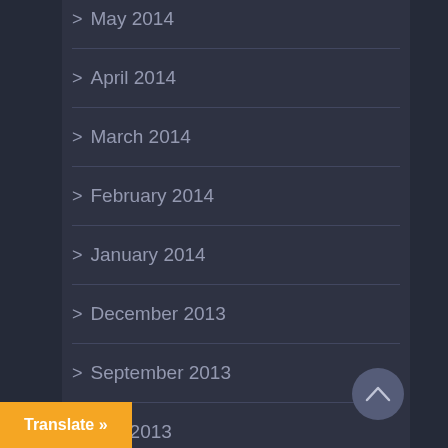May 2014
April 2014
March 2014
February 2014
January 2014
December 2013
September 2013
July 2013
…ber 2012
Translate »